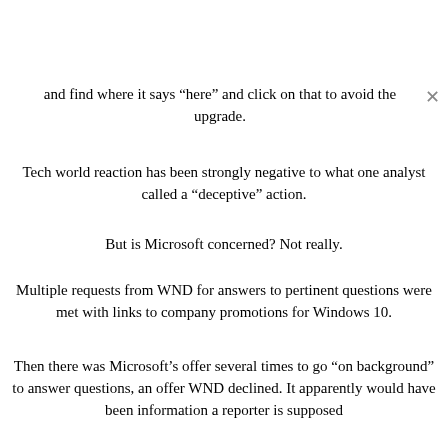and find where it says “here” and click on that to avoid the upgrade.
Tech world reaction has been strongly negative to what one analyst called a “deceptive” action.
But is Microsoft concerned? Not really.
Multiple requests from WND for answers to pertinent questions were met with links to company promotions for Windows 10.
Then there was Microsoft’s offer several times to go “on background” to answer questions, an offer WND declined. It apparently would have been information a reporter is supposed